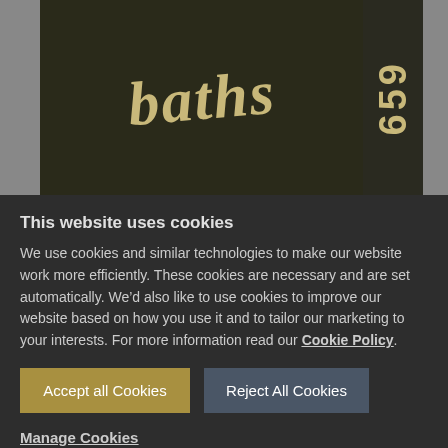[Figure (photo): Partial view of a vintage poster with stylized italic text reading 'baths' in gold/tan color on dark background, with the number '659' in gold on the right side strip. The image is cropped showing only the lower portion of the poster.]
This website uses cookies
We use cookies and similar technologies to make our website work more efficiently. These cookies are necessary and are set automatically. We’d also like to use cookies to improve our website based on how you use it and to tailor our marketing to your interests. For more information read our Cookie Policy.
Accept all Cookies
Reject All Cookies
Manage Cookies